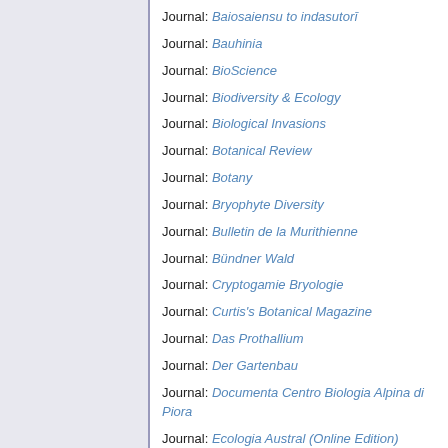Journal: Baiosaiensu to indasutorī
Journal: Bauhinia
Journal: BioScience
Journal: Biodiversity & Ecology
Journal: Biological Invasions
Journal: Botanical Review
Journal: Botany
Journal: Bryophyte Diversity
Journal: Bulletin de la Murithienne
Journal: Bündner Wald
Journal: Cryptogamie Bryologie
Journal: Curtis's Botanical Magazine
Journal: Das Prothallium
Journal: Der Gartenbau
Journal: Documenta Centro Biologia Alpina di Piora
Journal: Ecologia Austral (Online Edition)